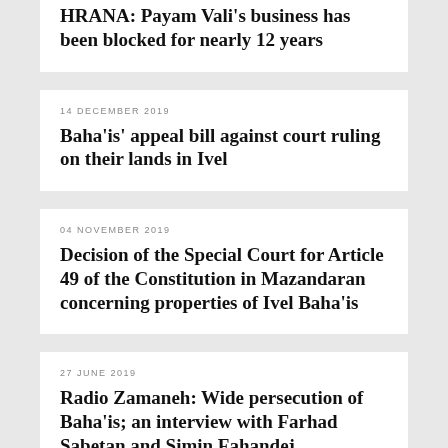HRANA: Payam Vali's business has been blocked for nearly 12 years
14 DECEMBER 2019
Baha'is' appeal bill against court ruling on their lands in Ivel
04 NOVEMBER 2019
Decision of the Special Court for Article 49 of the Constitution in Mazandaran concerning properties of Ivel Baha'is
27 JUNE 2019
Radio Zamaneh: Wide persecution of Baha'is; an interview with Farhad Sabetan and Simin Fahandej
20 JUNE 2019